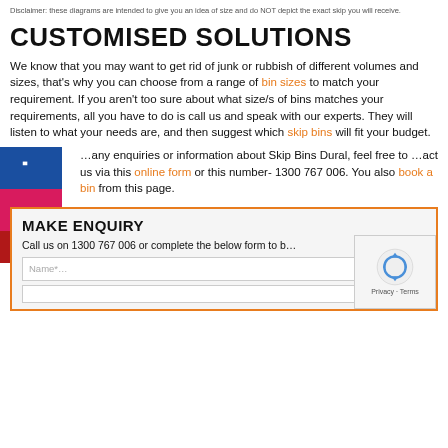Disclaimer: these diagrams are intended to give you an idea of size and do NOT depict the exact skip you will receive.
CUSTOMISED SOLUTIONS
We know that you may want to get rid of junk or rubbish of different volumes and sizes, that's why you can choose from a range of bin sizes to match your requirement. If you aren't too sure about what size/s of bins matches your requirements, all you have to do is call us and speak with our experts. They will listen to what your needs are, and then suggest which skip bins will fit your budget.
…any enquiries or information about Skip Bins Dural, feel free to …act us via this online form or this number- 1300 767 006. You also book a bin from this page.
MAKE ENQUIRY
Call us on 1300 767 006 or complete the below form to b…
[Figure (other): reCAPTCHA privacy widget with circular arrows logo, 'Privacy - Terms' text]